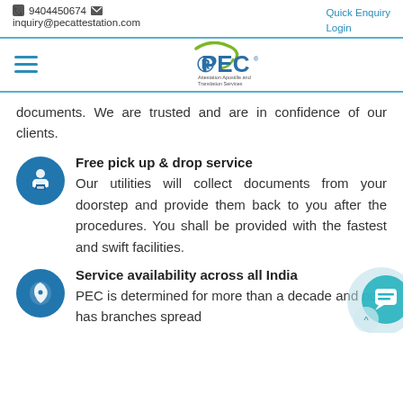📞 9404450674 ✉  inquiry@pecattestation.com  |  Quick Enquiry  Login
[Figure (logo): PEC logo - Attestation Apostille and Translation Services with green swoosh]
documents. We are trusted and are in confidence of our clients.
Free pick up & drop service
Our utilities will collect documents from your doorstep and provide them back to you after the procedures. You shall be provided with the fastest and swift facilities.
Service availability across all India
PEC is determined for more than a decade and now has branches spread